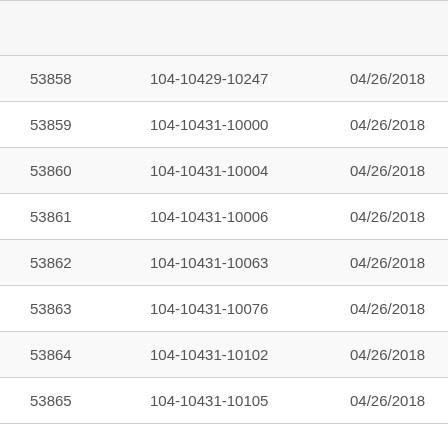|  |  |  |  |
| --- | --- | --- | --- |
| 53858 | 104-10429-10247 | 04/26/2018 | Reda |
| 53859 | 104-10431-10000 | 04/26/2018 | Reda |
| 53860 | 104-10431-10004 | 04/26/2018 | Reda |
| 53861 | 104-10431-10006 | 04/26/2018 | Reda |
| 53862 | 104-10431-10063 | 04/26/2018 | Reda |
| 53863 | 104-10431-10076 | 04/26/2018 | Reda |
| 53864 | 104-10431-10102 | 04/26/2018 | Reda |
| 53865 | 104-10431-10105 | 04/26/2018 | Reda |